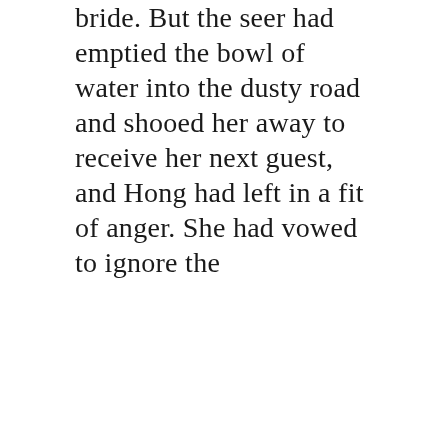bride. But the seer had emptied the bowl of water into the dusty road and shooed her away to receive her next guest, and Hong had left in a fit of anger. She had vowed to ignore the